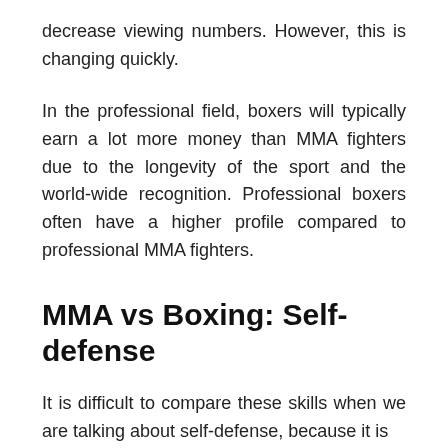decrease viewing numbers. However, this is changing quickly.
In the professional field, boxers will typically earn a lot more money than MMA fighters due to the longevity of the sport and the world-wide recognition. Professional boxers often have a higher profile compared to professional MMA fighters.
MMA vs Boxing: Self-defense
It is difficult to compare these skills when we are talking about self-defense, because it is